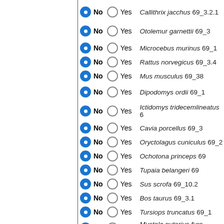No Yes Callithrix jacchus 69_3.2.1
No Yes Otolemur garnettii 69_3
No Yes Microcebus murinus 69_1
No Yes Rattus norvegicus 69_3.4
No Yes Mus musculus 69_38
No Yes Dipodomys ordii 69_1
No Yes Ictidomys tridecemlineatus 6
No Yes Cavia porcellus 69_3
No Yes Oryctolagus cuniculus 69_2
No Yes Ochotona princeps 69
No Yes Tupaia belangeri 69
No Yes Sus scrofa 69_10.2
No Yes Bos taurus 69_3.1
No Yes Tursiops truncatus 69_1
No Yes Mustela putorius furo 69_1.0
No Yes Ailuropoda melanoleuca 69